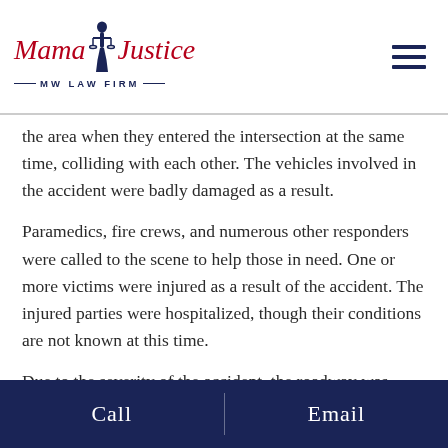Mama Justice — MW LAW FIRM —
the area when they entered the intersection at the same time, colliding with each other. The vehicles involved in the accident were badly damaged as a result.
Paramedics, fire crews, and numerous other responders were called to the scene to help those in need. One or more victims were injured as a result of the accident. The injured parties were hospitalized, though their conditions are not known at this time.
Due to the severity of the accident, the roadway was blocked in the westbound lanes for a period of time.
No further details have been released but the
Call | Email